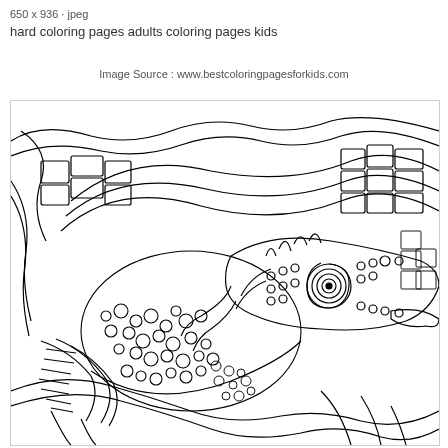650 x 936 · jpeg
hard coloring pages adults coloring pages kids
Image Source : www.bestcoloringpagesforkids.com
[Figure (illustration): A detailed black-and-white coloring page illustration of a chameleon clinging to a branch, with intricate scale patterns, a spiral eye, and geometric/textured background elements including curved lines and mosaic-like shapes.]